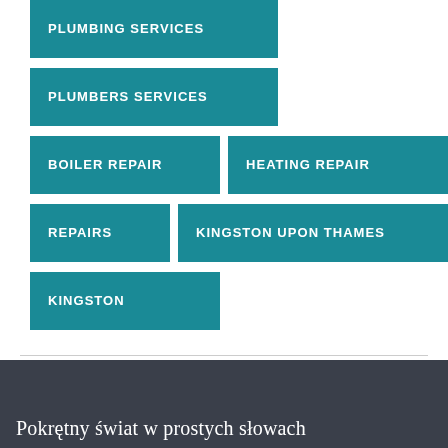[Figure (infographic): Tag cloud / keyword blocks in teal/dark cyan color showing plumbing-related search terms: PLUMBING SERVICES, PLUMBERS SERVICES, BOILER REPAIR, HEATING REPAIR, REPAIRS, KINGSTON UPON THAMES, KINGSTON]
Pokrętny świat w prostych słowach